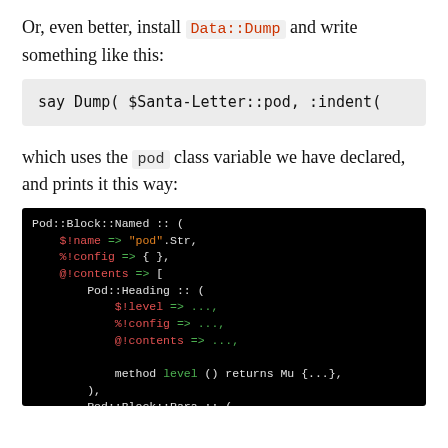Or, even better, install Data::Dump and write something like this:
[Figure (screenshot): Code block showing: say Dump( $Santa-Letter::pod, :indent(]
which uses the pod class variable we have declared, and prints it this way:
[Figure (screenshot): Terminal output showing Raku/Perl6 data structure dump with Pod::Block::Named, Pod::Heading, Pod::Block::Para nodes with colored syntax]